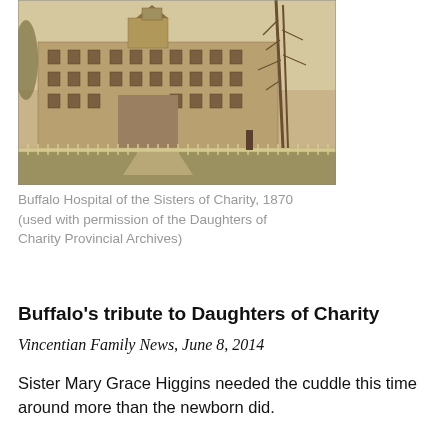[Figure (photo): Sepia-toned historical photograph of the Buffalo Hospital of the Sisters of Charity, a large multi-story brick building with a bell tower, surrounded by trees and a white picket fence, taken around 1870.]
Buffalo Hospital of the Sisters of Charity, 1870 (used with permission of the Daughters of Charity Provincial Archives)
Buffalo's tribute to Daughters of Charity
Vincentian Family News, June 8, 2014
Sister Mary Grace Higgins needed the cuddle this time around more than the newborn did.
After forty years caring little Anthony Bria point Endorsed...